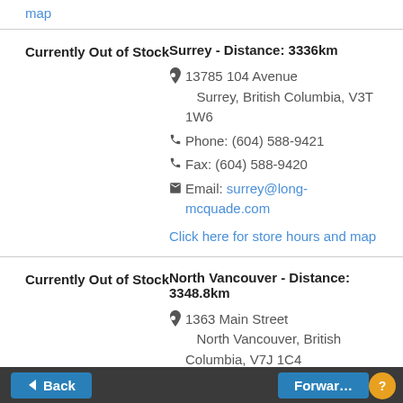map
Currently Out of Stock
Surrey - Distance: 3336km

📍 13785 104 Avenue
    Surrey, British Columbia, V3T 1W6
📞 Phone: (604) 588-9421
📞 Fax: (604) 588-9420
✉ Email: surrey@long-mcquade.com

Click here for store hours and map
Currently Out of Stock
North Vancouver - Distance: 3348.8km

📍 1363 Main Street
    North Vancouver, British Columbia, V7J 1C4
Back  Forward